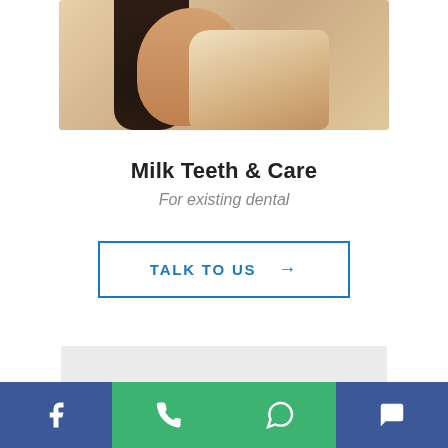[Figure (photo): Partial photo of a woman in a light cream/beige shirt with dark hair, shown from torso up, cropped at the top]
Milk Teeth & Care
For existing dental
TALK TO US →
[Figure (other): Grey rectangular placeholder box]
Facebook | Phone | WhatsApp | Chat icons bottom navigation bar